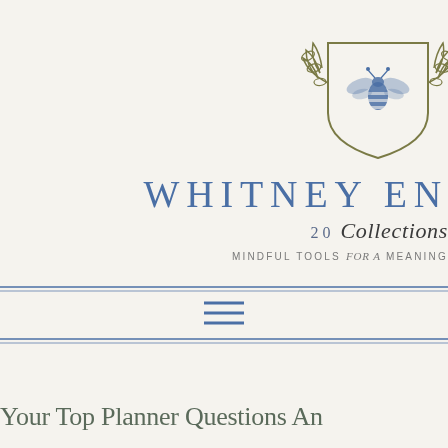[Figure (logo): Heraldic crest/shield with a blue bee in center and olive/gold foliage branches on sides]
WHITNEY EN...
20  Collections...
MINDFUL TOOLS for a MEANING...
[Figure (other): Horizontal double-line divider in blue]
[Figure (other): Hamburger menu icon (three horizontal lines) in blue]
[Figure (other): Horizontal double-line divider in blue]
Your Top Planner Questions An...